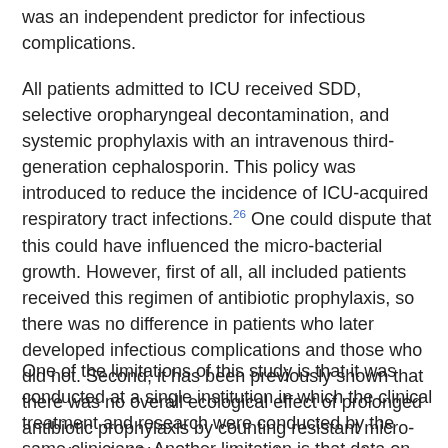was an independent predictor for infectious complications.
All patients admitted to ICU received SDD, selective oropharyngeal decontamination, and systemic prophylaxis with an intravenous third-generation cephalosporin. This policy was introduced to reduce the incidence of ICU-acquired respiratory tract infections.26 One could dispute that this could have influenced the micro-bacterial growth. However, first of all, all included patients received this regimen of antibiotic prophylaxis, so there was no difference in patients who later developed infectious complications and those who did not. Second, it has been previously shown that there was no overall ecological effect of prolonged antibiotic prophylaxis by counting resistant micro-organisms in ICU in countries where there is relatively low rates of resistant micro-organisms.27
One of the limitations of this study is that it was conducted at a single institution in which the clinical treatment and research were conducted by the same clinicians. Another limitation is that data on